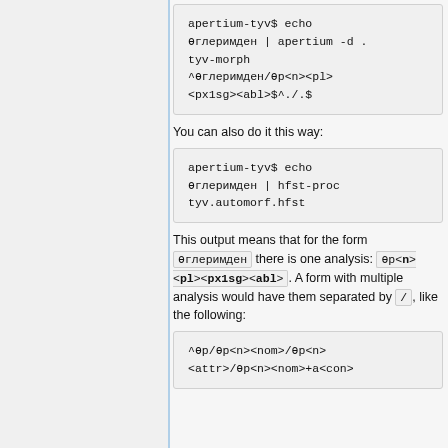[Figure (screenshot): Code block showing: apertium-tyv$ echo өглеримден | apertium -d . tyv-morph
^өглеримден/өр<n><pl><px1sg><abl>$^./.<sent>$]
You can also do it this way:
[Figure (screenshot): Code block showing: apertium-tyv$ echo өглеримден | hfst-proc tyv.automorf.hfst]
This output means that for the form өглеримден there is one analysis: өр<n><pl><px1sg><abl>. A form with multiple analysis would have them separated by /, like the following:
[Figure (screenshot): Code block showing: ^өр/өр<n><nom>/өр<n><attr>/өр<n><nom>+а<con>]